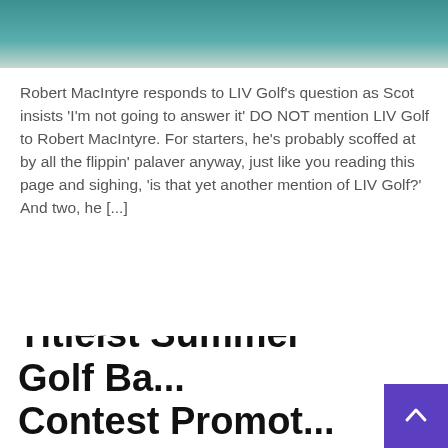[Figure (photo): Partial photo of a person in a teal/dark green textured top, cropped at the top of the page]
Robert MacIntyre responds to LIV Golf's question as Scot insists 'I'm not going to answer it' DO NOT mention LIV Golf to Robert MacIntyre. For starters, he's probably scoffed at by all the flippin' palaver anyway, just like you reading this page and sighing, 'is that yet another mention of LIV Golf?' And two, he [...]
Golf Bat
Read More
Titleist Summer Golf Ba... Contest Promot...